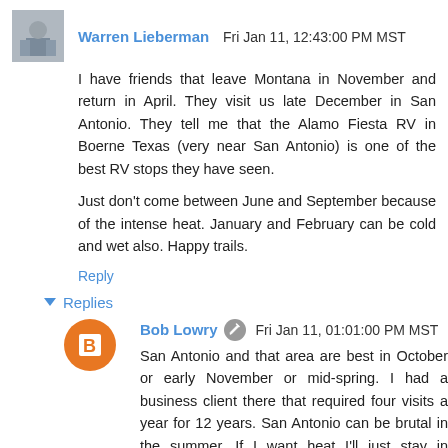[Figure (photo): Small avatar photo of Warren Lieberman, showing a person sitting]
Warren Lieberman  Fri Jan 11, 12:43:00 PM MST
I have friends that leave Montana in November and return in April. They visit us late December in San Antonio. They tell me that the Alamo Fiesta RV in Boerne Texas (very near San Antonio) is one of the best RV stops they have seen.

Just don't come between June and September because of the intense heat. January and February can be cold and wet also. Happy trails.
Reply
▼ Replies
[Figure (illustration): Orange circle avatar with Blogger 'B' icon for Bob Lowry]
Bob Lowry  ✏  Fri Jan 11, 01:01:00 PM MST
San Antonio and that area are best in October or early November or mid-spring. I had a business client there that required four visits a year for 12 years. San Antonio can be brutal in the summer. If I want heat I'll just stay in Phoenix!